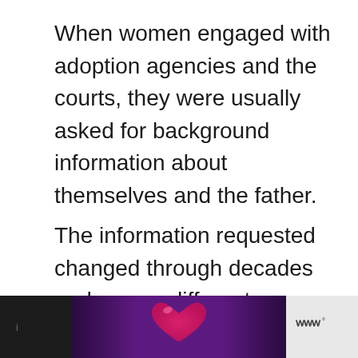When women engaged with adoption agencies and the courts, they were usually asked for background information about themselves and the father.
The information requested changed through decades and across different agencies. It’s also true that some agency staff or solicitors collected more information than others. And some mothers provided more
[Figure (other): Bottom bar with dark purple gradient background containing a pink heart icon in the center, dark panel on the left with light gray text, and light gray panel on the right with a wave/audio logo and degree symbol.]